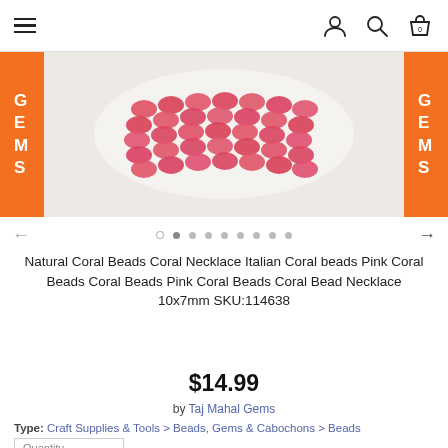Navigation header with hamburger menu, user icon, search icon, and bag icon (0 items)
[Figure (photo): Pink/coral colored natural coral beads arranged in rows on a white plate, flanked by orange bands with text 'G E M S' on each side]
Natural Coral Beads Coral Necklace Italian Coral beads Pink Coral Beads Coral Beads Pink Coral Beads Coral Bead Necklace 10x7mm SKU:114638
$14.99
by Taj Mahal Gems
Type: Craft Supplies & Tools > Beads, Gems & Cabochons > Beads
Quantity